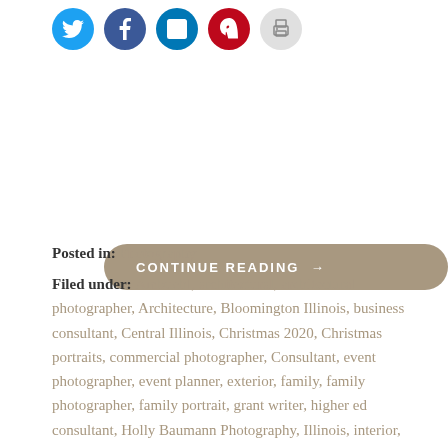[Figure (other): Row of social media sharing icons: Twitter (blue circle), Facebook (blue circle), LinkedIn (blue circle), Pinterest (red circle), Print (gray circle)]
CONTINUE READING →
Posted in: Photography
Filed under: Ambuehl, architectural, architectural photographer, Architecture, Bloomington Illinois, business consultant, Central Illinois, Christmas 2020, Christmas portraits, commercial photographer, Consultant, event photographer, event planner, exterior, family, family photographer, family portrait, grant writer, higher ed consultant, Holly Baumann Photography, Illinois, interior, mini session, Mosaic Collective LLC, nonprofit consultant, Normal Illinois, photographer, photography, planning, portrait, portrait photography, project consultant, project